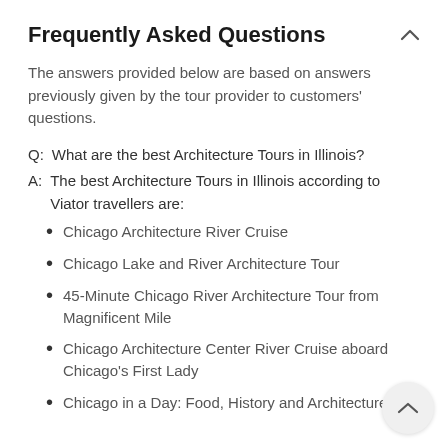Frequently Asked Questions
The answers provided below are based on answers previously given by the tour provider to customers' questions.
Q:  What are the best Architecture Tours in Illinois?
A:  The best Architecture Tours in Illinois according to Viator travellers are:
Chicago Architecture River Cruise
Chicago Lake and River Architecture Tour
45-Minute Chicago River Architecture Tour from Magnificent Mile
Chicago Architecture Center River Cruise aboard Chicago's First Lady
Chicago in a Day: Food, History and Architecture Walking Tour